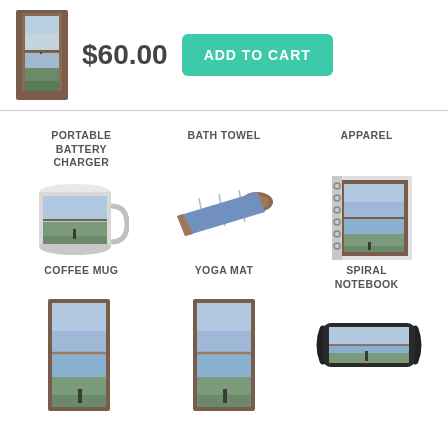[Figure (screenshot): Product thumbnail showing window artwork with golf figure]
$60.00
ADD TO CART
PORTABLE BATTERY CHARGER
[Figure (illustration): Portable battery charger product (not visible/empty area)]
BATH TOWEL
[Figure (illustration): Bath towel product (not visible/empty area)]
APPAREL
[Figure (illustration): Apparel product (not visible/empty area)]
[Figure (photo): Coffee mug with window/golf artwork]
COFFEE MUG
[Figure (photo): Yoga mat with blue pattern]
YOGA MAT
[Figure (photo): Spiral notebook with window/golf artwork]
SPIRAL NOTEBOOK
[Figure (photo): Tall framed window artwork print]
[Figure (photo): Tall framed window artwork print (second)]
[Figure (photo): Face mask with window/golf artwork]